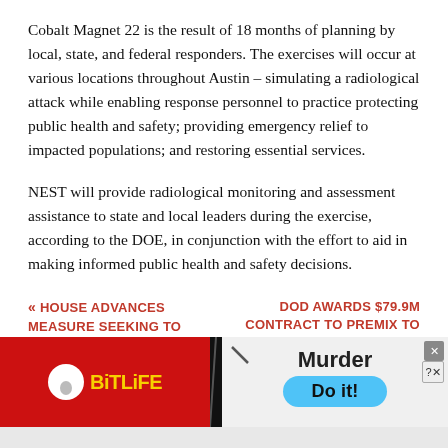Cobalt Magnet 22 is the result of 18 months of planning by local, state, and federal responders. The exercises will occur at various locations throughout Austin – simulating a radiological attack while enabling response personnel to practice protecting public health and safety; providing emergency relief to impacted populations; and restoring essential services.
NEST will provide radiological monitoring and assessment assistance to state and local leaders during the exercise, according to the DOE, in conjunction with the effort to aid in making informed public health and safety decisions.
« HOUSE ADVANCES MEASURE SEEKING TO
DOD AWARDS $79.9M CONTRACT TO PREMIX TO
[Figure (screenshot): Advertisement banner showing BitLife game ad on red background (left) and a 'Murder - Do it!' call-to-action on light blue button (right), with a close button (X) and question mark button.]